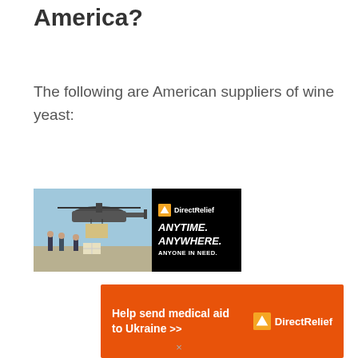America?
The following are American suppliers of wine yeast:
[Figure (illustration): Direct Relief advertisement banner showing a helicopter scene on the left side and black panel on the right with 'DirectRelief' logo and tagline 'ANYTIME. ANYWHERE. ANYONE IN NEED.']
[Figure (illustration): Direct Relief orange banner ad: 'Help send medical aid to Ukraine >>' with DirectRelief logo on right]
×